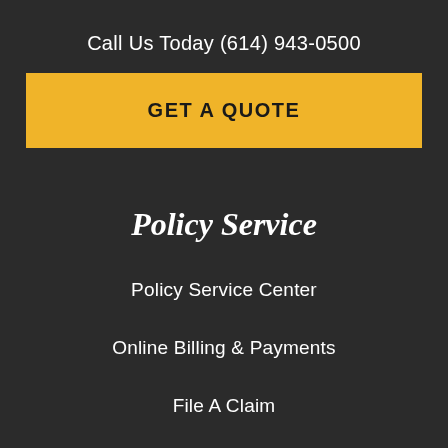Call Us Today (614) 943-0500
[Figure (other): Yellow 'GET A QUOTE' button banner]
Policy Service
Policy Service Center
Online Billing & Payments
File A Claim